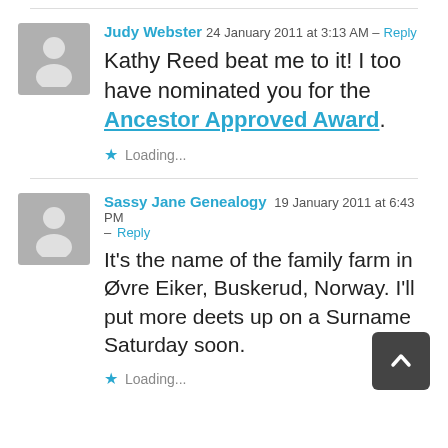Judy Webster  24 January 2011 at 3:13 AM – Reply
Kathy Reed beat me to it! I too have nominated you for the Ancestor Approved Award.
Loading...
Sassy Jane Genealogy  19 January 2011 at 6:43 PM – Reply
It's the name of the family farm in Øvre Eiker, Buskerud, Norway. I'll put more deets up on a Surname Saturday soon.
Loading...